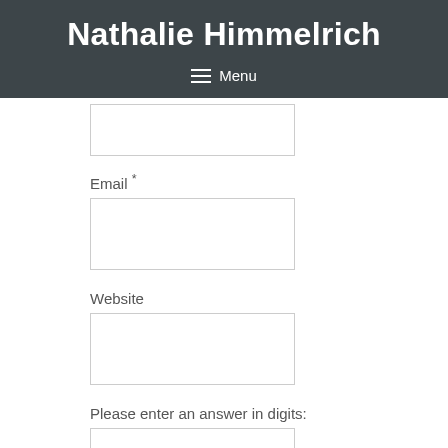Nathalie Himmelrich
≡  Menu
Email *
Website
Please enter an answer in digits: